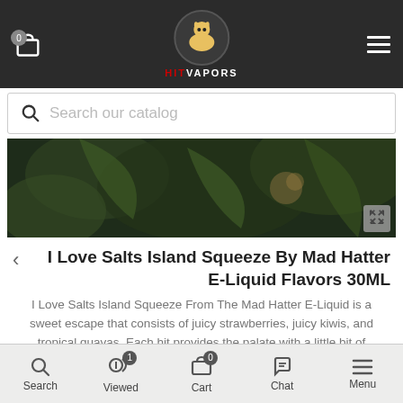Hit Vapors - navigation header with cart (0), logo, and hamburger menu
Search our catalog
[Figure (photo): Dark product image showing tropical foliage background for I Love Salts Island Squeeze e-liquid]
I Love Salts Island Squeeze By Mad Hatter E-Liquid Flavors 30ML
I Love Salts Island Squeeze From The Mad Hatter E-Liquid is a sweet escape that consists of juicy strawberries, juicy kiwis, and tropical guavas. Each hit provides the palate with a little bit of paradise. If you're
Read more
Size chart
Search | Viewed 1 | Cart 0 | Chat | Menu